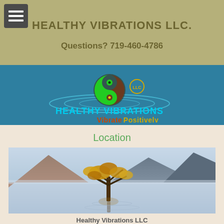HEALTHY VIBRATIONS LLC.
Questions? 719-460-4786
[Figure (logo): Healthy Vibrations LLC logo with yin-yang symbol in green and brown, circular ripple effect, text 'HEALTHY VIBRATIONS LLC' in cyan and 'Vibrate Positively' in orange-red, on teal background]
Location
[Figure (photo): Landscape photo of a lone tree standing in calm lake water with mountains in background, autumn foliage]
Healthy Vibrations LLC